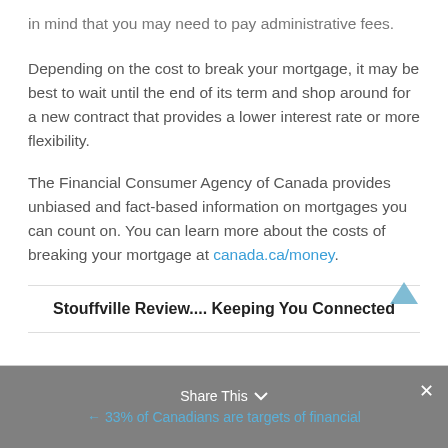in mind that you may need to pay administrative fees.
Depending on the cost to break your mortgage, it may be best to wait until the end of its term and shop around for a new contract that provides a lower interest rate or more flexibility.
The Financial Consumer Agency of Canada provides unbiased and fact-based information on mortgages you can count on. You can learn more about the costs of breaking your mortgage at canada.ca/money.
Stouffville Review.... Keeping You Connected
← 33% of Canadians are targets of financial